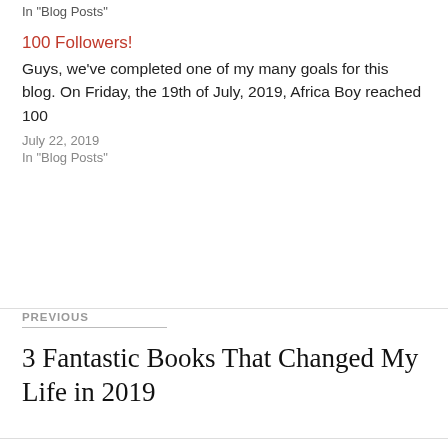In "Blog Posts"
100 Followers!
Guys, we've completed one of my many goals for this blog. On Friday, the 19th of July, 2019, Africa Boy reached 100
July 22, 2019
In "Blog Posts"
PREVIOUS
3 Fantastic Books That Changed My Life in 2019